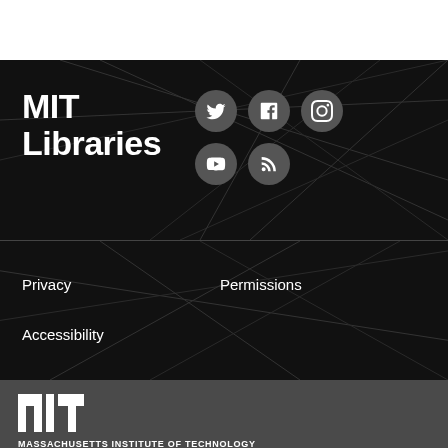[Figure (logo): MIT Libraries logo with social media icons (Twitter, Facebook, Instagram, YouTube, RSS) on black background with geometric line pattern]
Privacy
Permissions
Accessibility
[Figure (logo): MIT (Massachusetts Institute of Technology) pixel/block logo in white on dark gray background]
MASSACHUSETTS INSTITUTE OF TECHNOLOGY
Content created by the MIT Libraries, CC BY-NC unless otherwise noted. Notify us about copyright concerns.